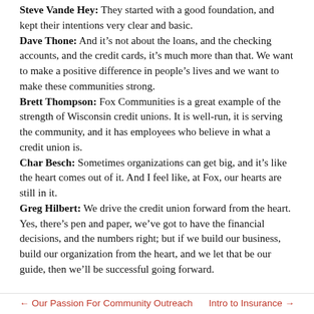Steve Vande Hey: They started with a good foundation, and kept their intentions very clear and basic. Dave Thone: And it's not about the loans, and the checking accounts, and the credit cards, it's much more than that. We want to make a positive difference in people's lives and we want to make these communities strong. Brett Thompson: Fox Communities is a great example of the strength of Wisconsin credit unions. It is well-run, it is serving the community, and it has employees who believe in what a credit union is. Char Besch: Sometimes organizations can get big, and it's like the heart comes out of it. And I feel like, at Fox, our hearts are still in it. Greg Hilbert: We drive the credit union forward from the heart. Yes, there's pen and paper, we've got to have the financial decisions, and the numbers right; but if we build our business, build our organization from the heart, and we let that be our guide, then we'll be successful going forward.
← Our Passion For Community OutreachIntro to Insurance →